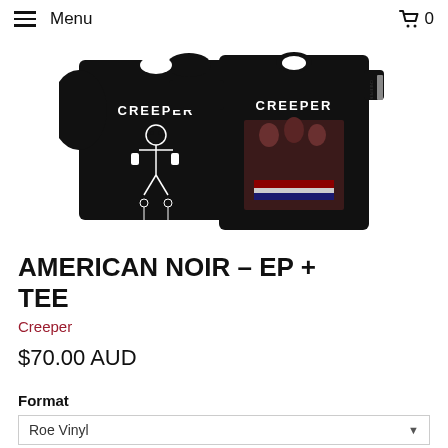Menu   0
[Figure (photo): Two black Creeper band t-shirts displayed side by side: left is a short-sleeve tee with a skeleton/grim reaper graphic, right is a long-sleeve tee with a band photo graphic. Both have CREEPER text on the chest.]
AMERICAN NOIR – EP + TEE
Creeper
$70.00 AUD
Format
Roe Vinyl